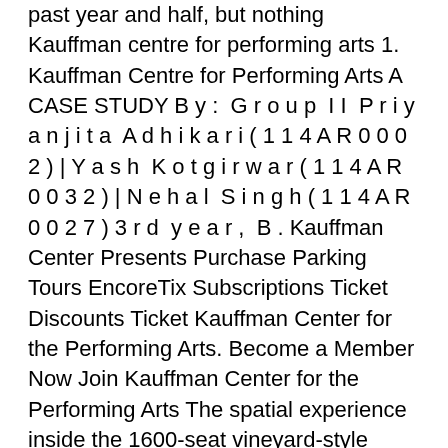past year and half, but nothing Kauffman centre for performing arts 1. Kauffman Centre for Performing Arts A CASE STUDY B y : G r o u p I I P r i y a n j i t a A d h i k a r i ( 1 1 4 A R 0 0 0 2 ) | Y a s h K o t g i r w a r ( 1 1 4 A R 0 0 3 2 ) | N e h a l S i n g h ( 1 1 4 A R 0 0 2 7 ) 3 r d y e a r , B . Kauffman Center Presents Purchase Parking Tours EncoreTix Subscriptions Ticket Discounts Ticket Kauffman Center for the Performing Arts. Become a Member Now Join Kauffman Center for the Performing Arts The spatial experience inside the 1600-seat vineyard-style concert hall evokes the exterior design of the building. The fanning geometry of the northern facade is echoed within the interior, highlighting the sculptural arrangement of the organ. The Kauffman Center for the Performing Arts is located in downtown Kansas City, Missouri, USA,